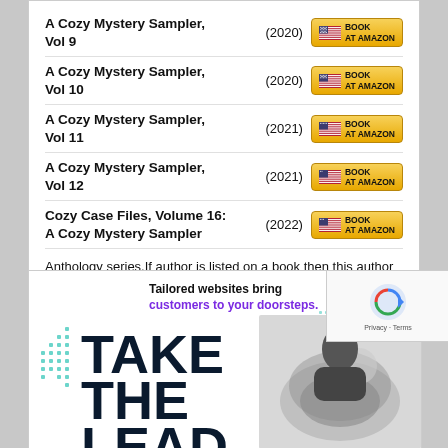A Cozy Mystery Sampler, Vol 9 (2020)
A Cozy Mystery Sampler, Vol 10 (2020)
A Cozy Mystery Sampler, Vol 11 (2021)
A Cozy Mystery Sampler, Vol 12 (2021)
Cozy Case Files, Volume 16: A Cozy Mystery Sampler (2022)
Anthology series.If author is listed on a book then this author wrote a story within that book.
[Figure (screenshot): Advertisement banner: Tailored websites bring customers to your doorsteps. TAKE THE LEAD. Dark navy text on white background with teal dot pattern and car image.]